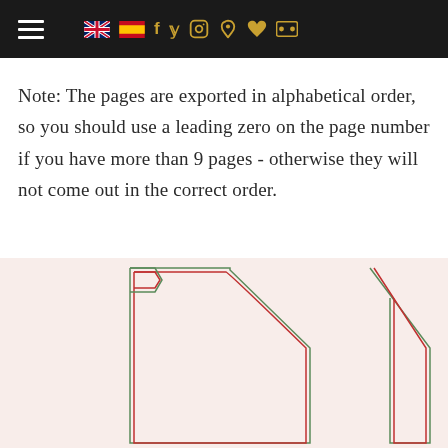Navigation bar with hamburger menu, UK and Spain flag icons, and social media icons (Facebook, Twitter, Instagram, Pinterest, Bloglovin, Flickr)
Note: The pages are exported in alphabetical order, so you should use a leading zero on the page number if you have more than 9 pages - otherwise they will not come out in the correct order.
[Figure (illustration): Sewing pattern pieces on a light pink/rose background showing garment front panels with curved necklines, outlines in red and green lines]